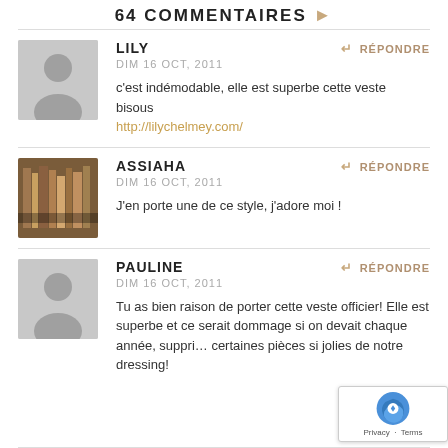64 COMMENTAIRES
LILY
DIM 16 OCT, 2011
c'est indémodable, elle est superbe cette veste
bisous
http://lilychelmey.com/
ASSIAHA
DIM 16 OCT, 2011
J'en porte une de ce style, j'adore moi !
PAULINE
DIM 16 OCT, 2011
Tu as bien raison de porter cette veste officier! Elle est superbe et ce serait dommage si on devait chaque année, suppri... certaines pièces si jolies de notre dressing!